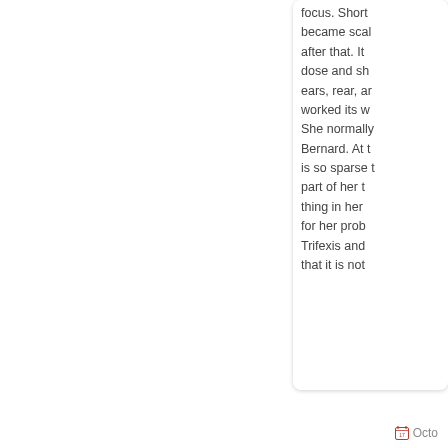focus. Short after that. It dose and she ears, rear, an worked its w She normally Bernard. At t is so sparse t part of her t thing in her for her prob Trifexis and that it is not
Octo